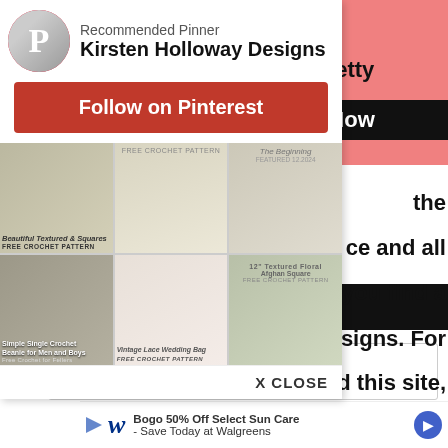[Figure (screenshot): Pinterest recommended pinner popup overlay showing Kirsten Holloway Designs with Follow on Pinterest button and a grid of crochet pattern pin images]
and pretty
e Now
the
ce and all
at you find a
esigns. For
d this site,
FIND A PATTERN
Search this website
[Figure (screenshot): Walgreens advertisement: Bogo 50% Off Select Sun Care - Save Today at Walgreens]